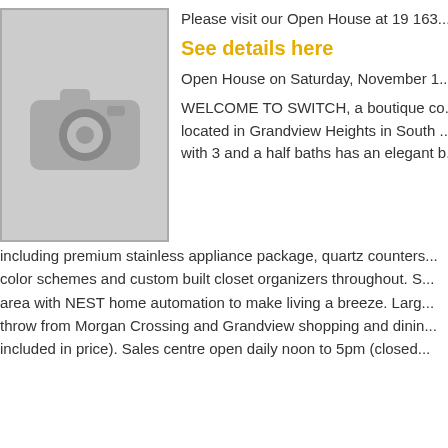[Figure (photo): Placeholder camera icon image for property listing photo]
Please visit our Open House at 19 163...
See details here
Open House on Saturday, November 1...
WELCOME TO SWITCH, a boutique co... located in Grandview Heights in South ... with 3 and a half baths has an elegant b... including premium stainless appliance package, quartz counters... color schemes and custom built closet organizers throughout. S... area with NEST home automation to make living a breeze. Larg... throw from Morgan Crossing and Grandview shopping and dinin... included in price). Sales centre open daily noon to 5pm (closed...